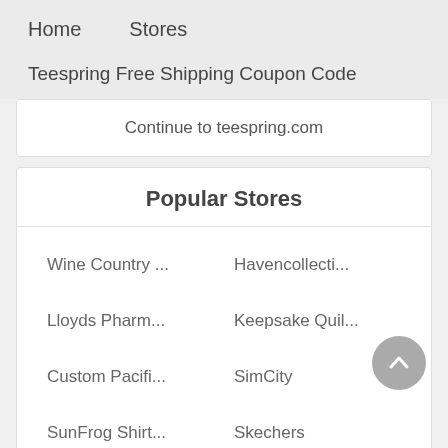Home    Stores
Teespring Free Shipping Coupon Code
Continue to teespring.com
Popular Stores
Wine Country ...
Havencollecti...
Lloyds Pharm...
Keepsake Quil...
Custom Pacifi...
SimCity
SunFrog Shirt...
Skechers
H&M...
A...